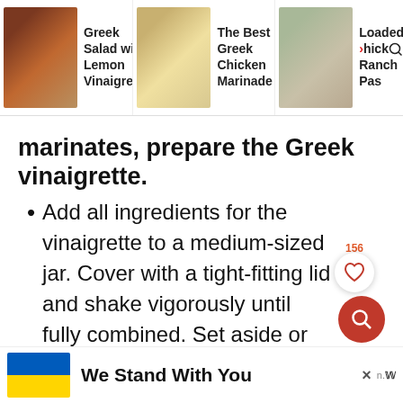Greek Salad with Lemon Vinaigrette | The Best Greek Chicken Marinade | Loaded Chick Ranch Pas
marinates, prepare the Greek vinaigrette.
Add all ingredients for the vinaigrette to a medium-sized jar. Cover with a tight-fitting lid and shake vigorously until fully combined. Set aside or store in the refrigerator until ready to use.
[Figure (infographic): Ad banner with Ukrainian flag and text 'We Stand With You', with close button and logo]
We Stand With You